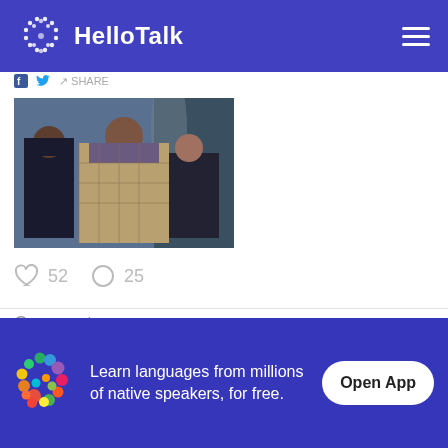[Figure (logo): HelloTalk app logo and name in white on blue header bar with hamburger menu]
[Figure (photo): Three people standing, one woman in plaid jacket speaking, two men beside her, indoor setting]
52  25
Comments
Yan  2020.03.01 03:56
CN → EN
Take good care of yourself.
[Figure (infographic): Bottom banner with colorful HelloTalk logo, text: Learn languages from millions of native speakers, for free. Open App button]